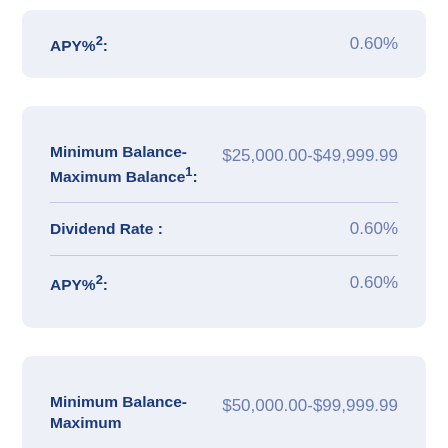APY%²: 0.60%
Minimum Balance-Maximum Balance¹: $25,000.00-$49,999.99
Dividend Rate : 0.60%
APY%²: 0.60%
Minimum Balance-Maximum Balance: $50,000.00-$99,999.99